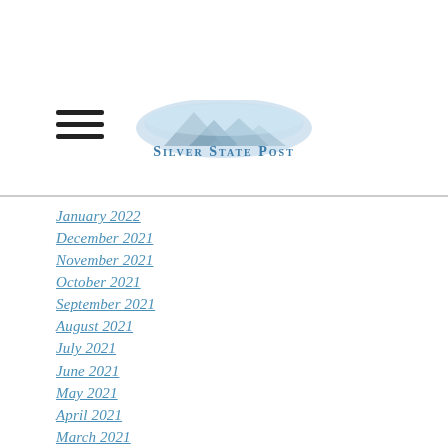Silver State Post
January 2022
December 2021
November 2021
October 2021
September 2021
August 2021
July 2021
June 2021
May 2021
April 2021
March 2021
February 2021
January 2021
December 2020
November 2020
October 2020
September 2020
August 2020